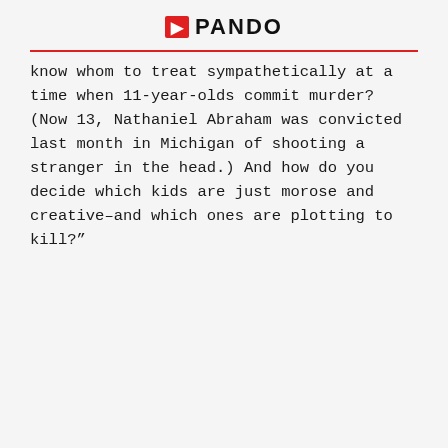PANDO
know whom to treat sympathetically at a time when 11-year-olds commit murder? (Now 13, Nathaniel Abraham was convicted last month in Michigan of shooting a stranger in the head.) And how do you decide which kids are just morose and creative–and which ones are plotting to kill?”